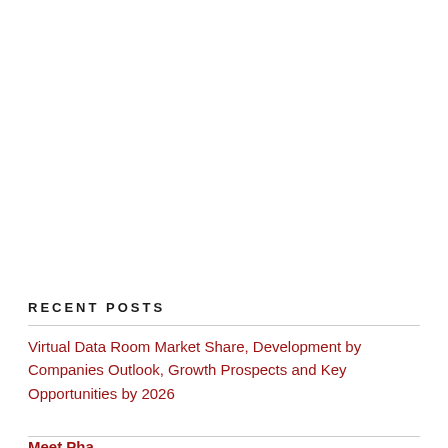RECENT POSTS
Virtual Data Room Market Share, Development by Companies Outlook, Growth Prospects and Key Opportunities by 2026
Meet Pha…